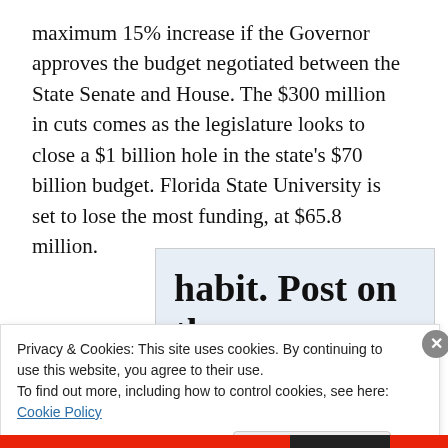maximum 15% increase if the Governor approves the budget negotiated between the State Senate and House. The $300 million in cuts comes as the legislature looks to close a $1 billion hole in the state's $70 billion budget. Florida State University is set to lose the most funding, at $65.8 million.
[Figure (other): WordPress app advertisement banner showing 'habit. Post on the go.' text with 'GET THE APP' call to action and WordPress logo]
Privacy & Cookies: This site uses cookies. By continuing to use this website, you agree to their use.
To find out more, including how to control cookies, see here: Cookie Policy